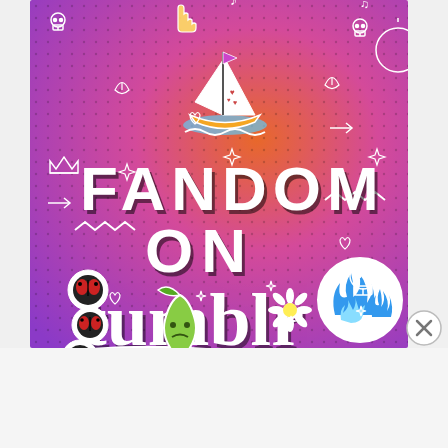[Figure (illustration): Tumblr advertisement banner with orange-to-purple gradient background covered in white doodle icons (skulls, hearts, music notes, arrows, crowns, leaves, stars, etc.). Text reads 'FANDOM ON tumblr' in bold black and white lettering. Sticker illustrations include a sailboat, ladybug circles, flame drops, a crying green drop character, and a flower.]
[Figure (illustration): Circular close/dismiss button with X symbol, gray outline]
Advertisements
[Figure (logo): P2 logo - black square with grid icon and P2 text]
Getting your team on the same page is easy. And free.